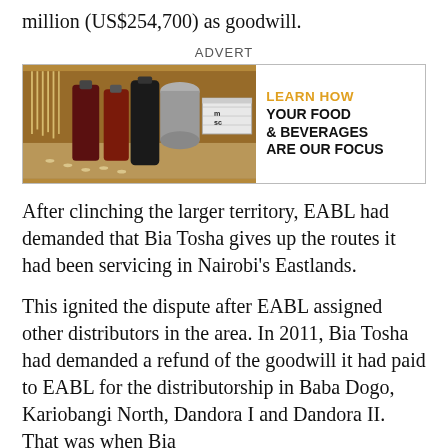million (US$254,700) as goodwill.
ADVERT
[Figure (illustration): Advertisement banner for MSC showing food and beverages products on the left with text 'LEARN HOW YOUR FOOD & BEVERAGES ARE OUR FOCUS' on the right.]
After clinching the larger territory, EABL had demanded that Bia Tosha gives up the routes it had been servicing in Nairobi’s Eastlands.
This ignited the dispute after EABL assigned other distributors in the area. In 2011, Bia Tosha had demanded a refund of the goodwill it had paid to EABL for the distributorship in Baba Dogo, Kariobangi North, Dandora I and Dandora II. That was when Bia...